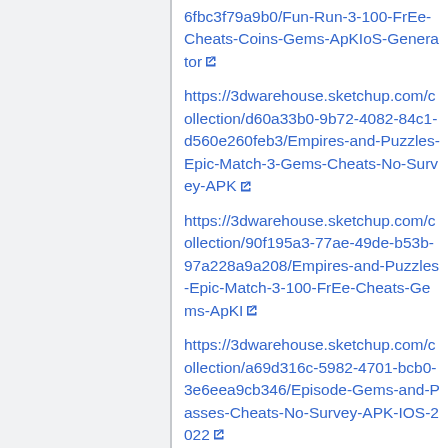6fbc3f79a9b0/Fun-Run-3-100-FrEe-Cheats-Coins-Gems-ApKIoS-Generator
https://3dwarehouse.sketchup.com/collection/d60a33b0-9b72-4082-84c1-d560e260feb3/Empires-and-Puzzles-Epic-Match-3-Gems-Cheats-No-Survey-APK
https://3dwarehouse.sketchup.com/collection/90f195a3-77ae-49de-b53b-97a228a9a208/Empires-and-Puzzles-Epic-Match-3-100-FrEe-Cheats-Gems-ApKI
https://3dwarehouse.sketchup.com/collection/a69d316c-5982-4701-bcb0-3e6eea9cb346/Episode-Gems-and-Passes-Cheats-No-Survey-APK-IOS-2022
https://3dwarehouse.sketchup.com/collection/075ba15b-1005-4306-89b6-